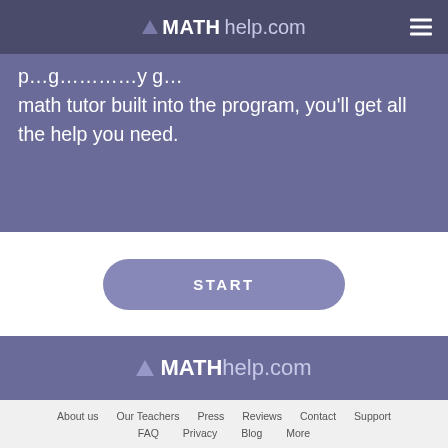MATHhelp.com
...math tutor built into the program, you'll get all the help you need.
[Figure (other): START button - rounded rectangle purple button with text START]
[Figure (logo): MATHhelp.com logo in footer]
About us  Our Teachers  Press  Reviews  Contact  Support  FAQ  Privacy  Blog  More